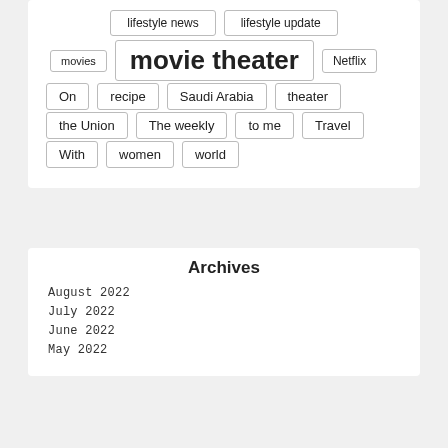lifestyle news
lifestyle update
movies
movie theater
Netflix
On
recipe
Saudi Arabia
theater
the Union
The weekly
to me
Travel
With
women
world
Archives
August 2022
July 2022
June 2022
May 2022